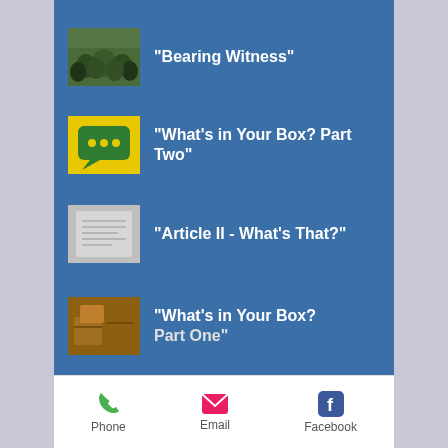“Bearing Witness”
“What’s in Your Box? Part Two”
“Article II - What’s That?”
“What’s in Your Box? Part One”
Phone   Email   Facebook